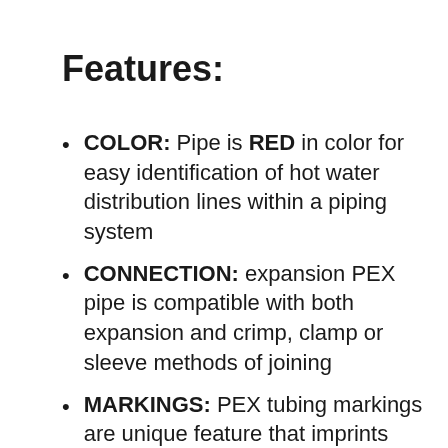Features:
COLOR: Pipe is RED in color for easy identification of hot water distribution lines within a piping system
CONNECTION: expansion PEX pipe is compatible with both expansion and crimp, clamp or sleeve methods of joining
MARKINGS: PEX tubing markings are unique feature that imprints common standards and ratings making it easy to understand tubing properties
STANDARDS: Meets or exceeds the